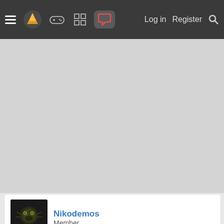≡  [logo]  [gamepad]  [grid]  [chat active]    Log in   Register   🔍
[Figure (other): Gray advertisement/banner area]
Nikodemos
Member
Jan 28, 2015   #103
CodonAUG said: ⊕

We could do things the american way and process them so that we dont see the bugs. I tried some chocolate chip cookies made with 'cricket flour' (from these dues http://bittyfoods.com/) and they tasted like normal cookies.
Puree them, texture them like fish cakes, deep fry them and